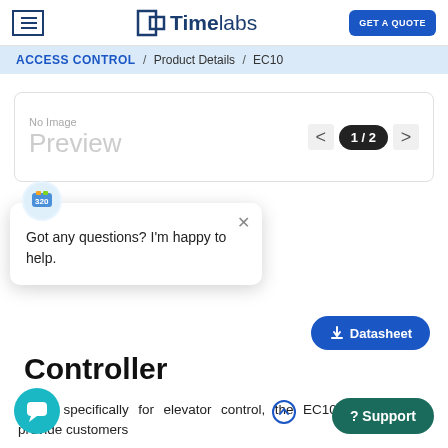Timelabs | GET A QUOTE
ACCESS CONTROL / Product Details / EC10
[Figure (screenshot): Product image placeholder showing 'No Image Preview' with navigation arrows and 1/2 page indicator]
Got any questions? I'm happy to help.
Datasheet
Controller
igning specifically for elevator control, the EC10 panel boards provide customers